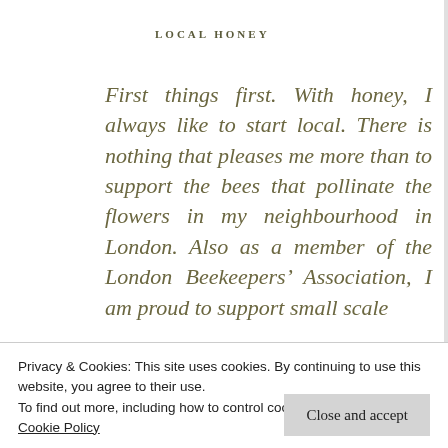LOCAL HONEY
First things first. With honey, I always like to start local. There is nothing that pleases me more than to support the bees that pollinate the flowers in my neighbourhood in London. Also as a member of the London Beekeepers’ Association, I am proud to support small scale
Privacy & Cookies: This site uses cookies. By continuing to use this website, you agree to their use.
To find out more, including how to control cookies, see here:
Cookie Policy
Close and accept